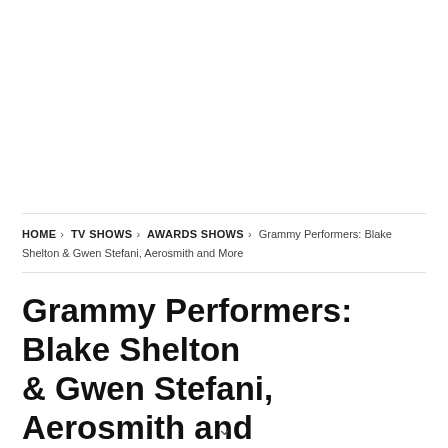HOME > TV SHOWS > AWARDS SHOWS > Grammy Performers: Blake Shelton & Gwen Stefani, Aerosmith and More
Grammy Performers: Blake Shelton & Gwen Stefani, Aerosmith and